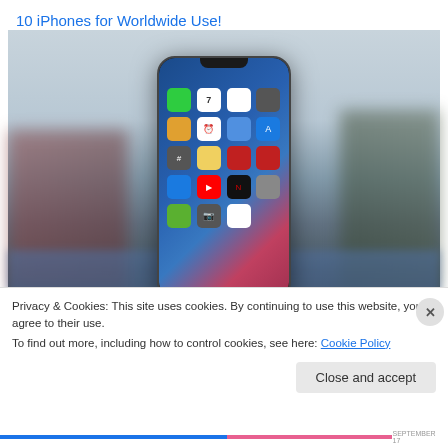10 iPhones for Worldwide Use!
[Figure (photo): Photo of an iPhone X held up outdoors showing home screen with app icons, blurred background with water and buildings]
Privacy & Cookies: This site uses cookies. By continuing to use this website, you agree to their use.
To find out more, including how to control cookies, see here: Cookie Policy
Close and accept